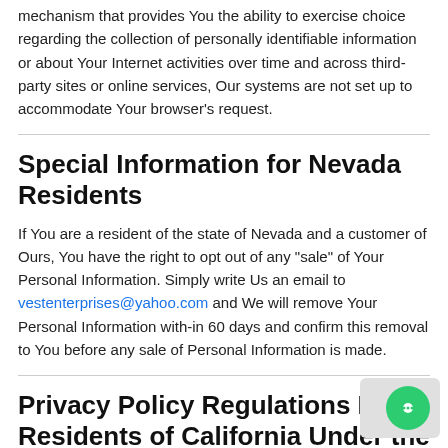mechanism that provides You the ability to exercise choice regarding the collection of personally identifiable information or about Your Internet activities over time and across third-party sites or online services, Our systems are not set up to accommodate Your browser's request.
Special Information for Nevada Residents
If You are a resident of the state of Nevada and a customer of Ours, You have the right to opt out of any "sale" of Your Personal Information. Simply write Us an email to vestenterprises@yahoo.com and We will remove Your Personal Information with-in 60 days and confirm this removal to You before any sale of Personal Information is made.
Privacy Policy Regulations For Residents of California Under the California Consumer Privacy Act of